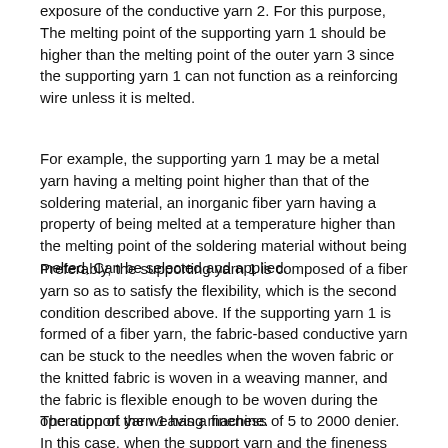exposure of the conductive yarn 2. For this purpose, The melting point of the supporting yarn 1 should be higher than the melting point of the outer yarn 3 since the supporting yarn 1 can not function as a reinforcing wire unless it is melted.
For example, the supporting yarn 1 may be a metal yarn having a melting point higher than that of the soldering material, an inorganic fiber yarn having a property of being melted at a temperature higher than the melting point of the soldering material without being melted, Can be selected and applied.
Preferably, the supporting yarn 1 is composed of a fiber yarn so as to satisfy the flexibility, which is the second condition described above. If the supporting yarn 1 is formed of a fiber yarn, the fabric-based conductive yarn can be stuck to the needles when the woven fabric or the knitted fabric is woven in a weaving manner, and the fabric is flexible enough to be woven during the operation of the weaving machine.
The support yarn 1 has a fineness of 5 to 2000 denier. In this case, when the support yarn and the fineness are 5